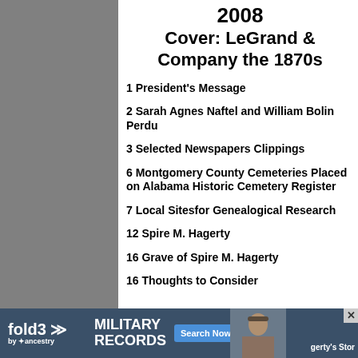2008
Cover: LeGrand & Company the 1870s
1 President's Message
2 Sarah Agnes Naftel and William Bolin Perdu
3 Selected Newspapers Clippings
6 Montgomery County Cemeteries Placed on Alabama Historic Cemetery Register
7 Local Sitesfor Genealogical Research
12 Spire M. Hagerty
16 Grave of Spire M. Hagerty
16 Thoughts to Consider
[Figure (other): fold3 by Ancestry military records advertisement banner with Search Now button and soldier photo]